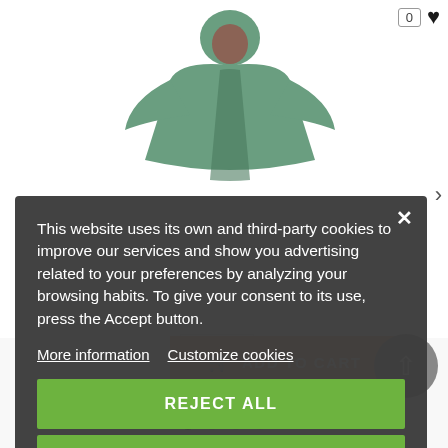[Figure (screenshot): E-commerce product page showing a green raincoat/poncho figure on white background, with a shopping cart counter (0) and heart/wishlist icon in the top right.]
This website uses its own and third-party cookies to improve our services and show you advertising related to your preferences by analyzing your browsing habits. To give your consent to its use, press the Accept button.
More information   Customize cookies
REJECT ALL
I ACCEPT
1
ADD TO CART